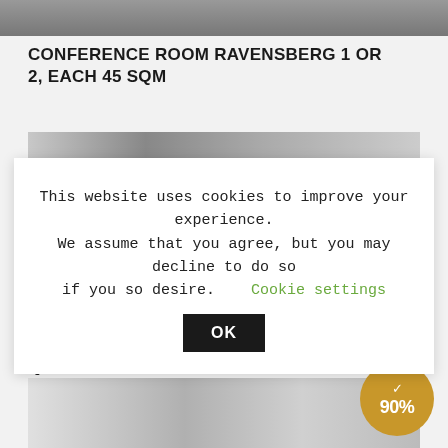[Figure (photo): Top portion of a conference room photo, partially cropped at the top of the page]
CONFERENCE ROOM RAVENSBERG 1 OR 2, EACH 45 SQM
[Figure (photo): Conference room interior photo showing curtains and room setup, partially visible behind cookie overlay]
This website uses cookies to improve your experience. We assume that you agree, but you may decline to do so if you so desire. Cookie settings OK
CONFERENCE ROOM BRANDENBURG, 58 QM
[Figure (photo): Conference room with curtains visible at the bottom of the page]